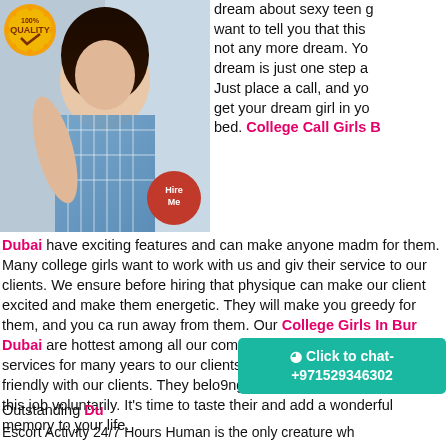[Figure (photo): Young woman in plaid shirt with 100% Quality badge overlay and red Hire Me circle badge]
dream about sexy teen g... want to tell you that this not any more dream. You dream is just one step a... Just place a call, and you get your dream girl in yo... bed. College Call Girls B... Dubai have exciting features and can make anyone madm... for them. Many college girls want to work with us and giv... their service to our clients. We ensure before hiring that ... physique can make our client excited and make them energetic. They will make you greedy for them, and you ca... run away from them. Our College Girls In Bur Dubai are hottest among all our competitor's girls and providing services for many years to our clients. They are reliable a... very friendly with our clients. They belo9ng to affluent so... and they chose this job voluntarily. It's time to taste their and add a wonderful memory to your life.
☺ Click to chat- +971529346302
Outstanding Du...
Escort Activity 24/7 Hours Human is the only creature wh...